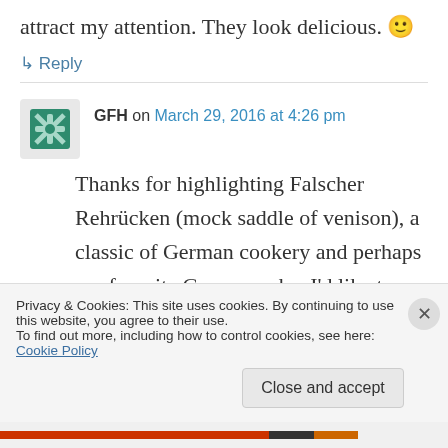attract my attention. They look delicious. 🙂
↳ Reply
GFH on March 29, 2016 at 4:26 pm
Thanks for highlighting Falscher Rehrücken (mock saddle of venison), a classic of German cookery and perhaps my favorite German cake. I'd like to learn the history of this curious dessert, which is supposed to look like a roast saddle of
Privacy & Cookies: This site uses cookies. By continuing to use this website, you agree to their use.
To find out more, including how to control cookies, see here: Cookie Policy
Close and accept